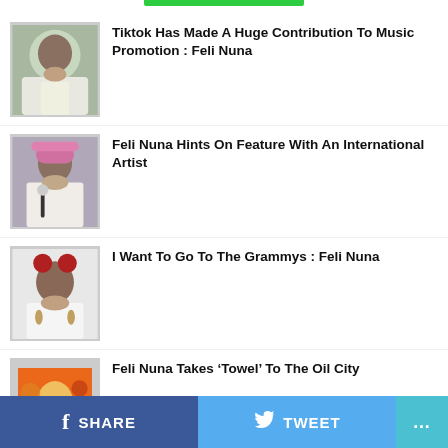[Figure (illustration): Green accent bar at top center of page]
[Figure (photo): Photo of Feli Nuna sitting outdoors in white outfit]
Tiktok Has Made A Huge Contribution To Music Promotion : Feli Nuna
[Figure (photo): Photo of Feli Nuna singing with microphone, pink hair]
Feli Nuna Hints On Feature With An International Artist
[Figure (photo): Photo of Feli Nuna with red hair accessories on white background]
I Want To Go To The Grammys : Feli Nuna
[Figure (photo): Colorful promotional poster: Feli Nuna Live In Taadi]
Feli Nuna Takes ‘Towel’ To The Oil City
[Figure (photo): Partial photo cut off at bottom]
'It Is Uncouth For A Plus To Insult...
SHARE   TWEET   ...